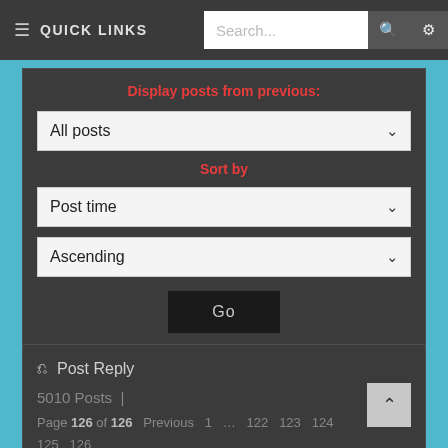≡ QUICK LINKS   Search...
Display posts from previous:
All posts
Sort by
Post time
Ascending
Go
↩ Post Reply
5010 Posts |
Page 126 of 126   Previous   1   …   122   123   124   125   126